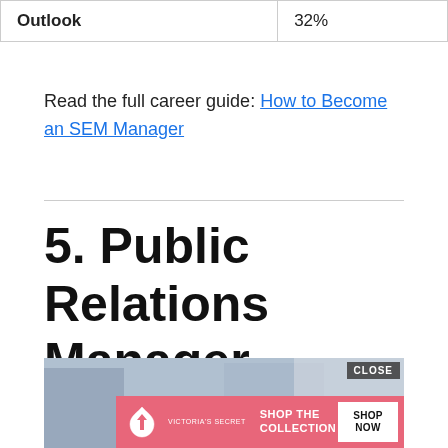| Outlook | 32% |
Read the full career guide: How to Become an SEM Manager
5. Public Relations Manager
[Figure (photo): Office meeting scene with a woman presenting, overlaid with a Victoria's Secret advertisement banner with 'SHOP THE COLLECTION' text and a 'SHOP NOW' button and a 'CLOSE' button.]